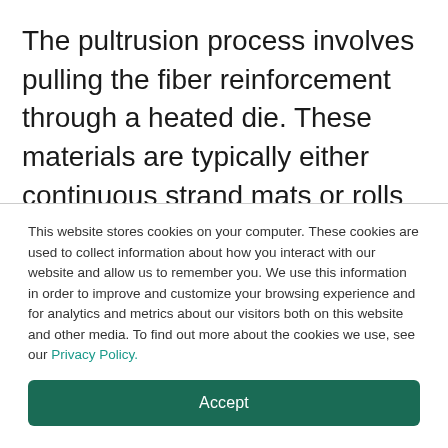The pultrusion process involves pulling the fiber reinforcement through a heated die. These materials are typically either continuous strand mats or rolls of filament (otherwise known as rovings). The first step of this process is feeding these raw materials into the pre-forming guide. This must be done very carefully, as inaccuracy can have a negative impact on the final profile. There a large number of fiber...
This website stores cookies on your computer. These cookies are used to collect information about how you interact with our website and allow us to remember you. We use this information in order to improve and customize your browsing experience and for analytics and metrics about our visitors both on this website and other media. To find out more about the cookies we use, see our Privacy Policy.
Accept